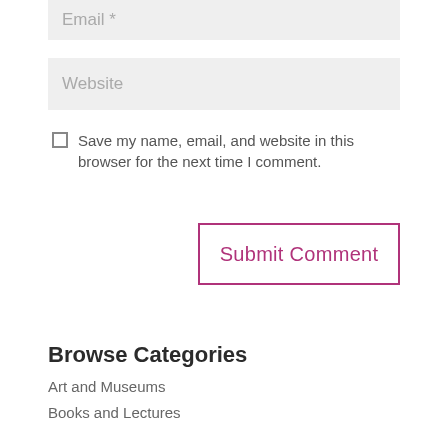Email *
Website
Save my name, email, and website in this browser for the next time I comment.
Submit Comment
Browse Categories
Art and Museums
Books and Lectures